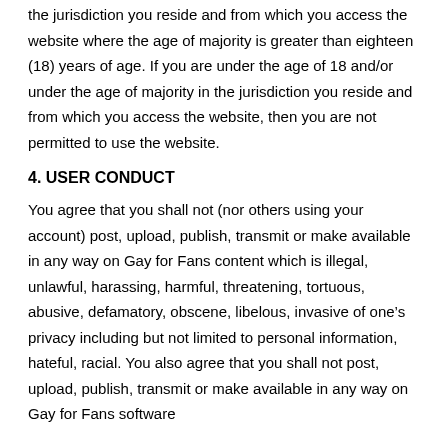the jurisdiction you reside and from which you access the website where the age of majority is greater than eighteen (18) years of age. If you are under the age of 18 and/or under the age of majority in the jurisdiction you reside and from which you access the website, then you are not permitted to use the website.
4. USER CONDUCT
You agree that you shall not (nor others using your account) post, upload, publish, transmit or make available in any way on Gay for Fans content which is illegal, unlawful, harassing, harmful, threatening, tortuous, abusive, defamatory, obscene, libelous, invasive of one’s privacy including but not limited to personal information, hateful, racial. You also agree that you shall not post, upload, publish, transmit or make available in any way on Gay for Fans software